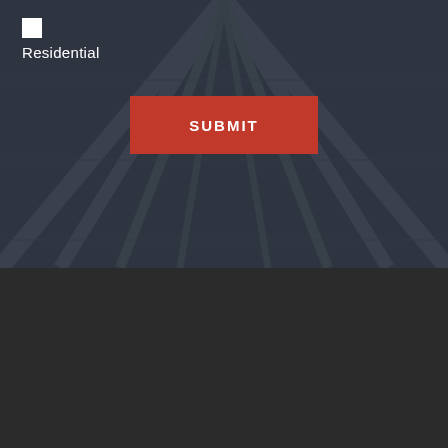[Figure (screenshot): Dark architectural background with angled structural lines, overlaying a form section with a checkbox labeled Residential and a red Submit button]
Residential
SUBMIT
Get In Touch!
602-319-1326
602-522-2014
8485 E. Camelback Rd. Suite 150